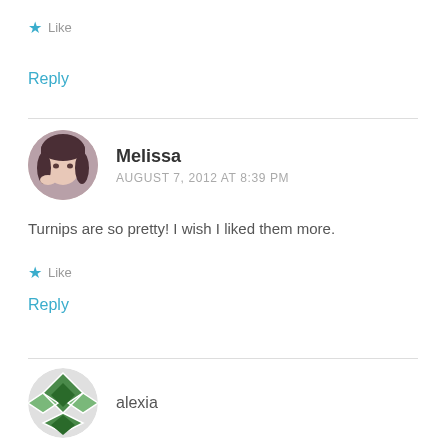★ Like
Reply
[Figure (photo): Circular avatar photo of Melissa, a woman with dark hair]
Melissa
AUGUST 7, 2012 AT 8:39 PM
Turnips are so pretty! I wish I liked them more.
★ Like
Reply
[Figure (photo): Circular avatar with green and gray diamond quilt pattern for alexia]
alexia